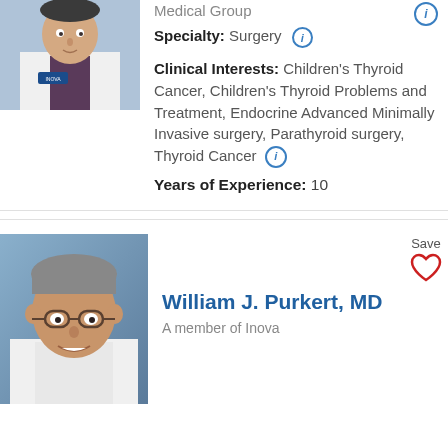[Figure (photo): Doctor in white coat with Inova badge, cropped at top of page]
Medical Group
Specialty: Surgery
Clinical Interests: Children's Thyroid Cancer, Children's Thyroid Problems and Treatment, Endocrine Advanced Minimally Invasive surgery, Parathyroid surgery, Thyroid Cancer
Years of Experience: 10
[Figure (photo): William J. Purkert MD — older male doctor with glasses, smiling, blue background]
Save
William J. Purkert, MD
A member of Inova